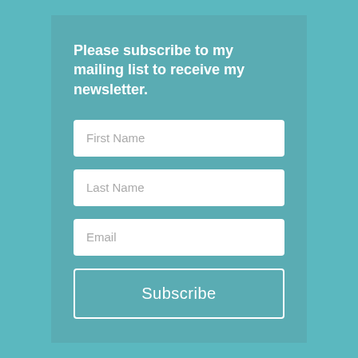Please subscribe to my mailing list to receive my newsletter.
First Name
Last Name
Email
Subscribe